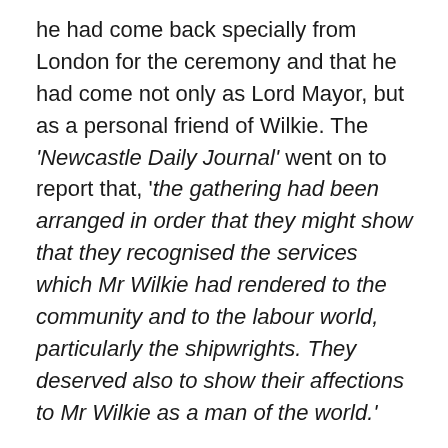he had come back specially from London for the ceremony and that he had come not only as Lord Mayor, but as a personal friend of Wilkie. The 'Newcastle Daily Journal' went on to report that, 'the gathering had been arranged in order that they might show that they recognised the services which Mr Wilkie had rendered to the community and to the labour world, particularly the shipwrights. They deserved also to show their affections to Mr Wilkie as a man of the world.'
Wilkie was a very active member of the House Commons and spoke on many issues. Despite these interventions including a wide range of topics, he never forgot his commitment to the shipyard workers in places like the east end of Newcastle and Wallsend. In 1918 for example, Wilkie spoke about naval shipwrights pay and skilled